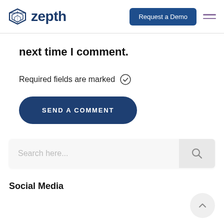zepth | Request a Demo
next time I comment.
Required fields are marked ✓
SEND A COMMENT
Search here...
Social Media